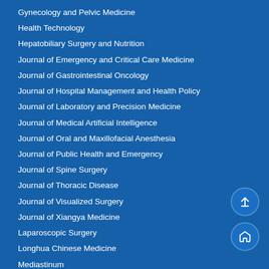Gynecology and Pelvic Medicine
Health Technology
Hepatobiliary Surgery and Nutrition
Journal of Emergency and Critical Care Medicine
Journal of Gastrointestinal Oncology
Journal of Hospital Management and Health Policy
Journal of Laboratory and Precision Medicine
Journal of Medical Artificial Intelligence
Journal of Oral and Maxillofacial Anesthesia
Journal of Public Health and Emergency
Journal of Spine Surgery
Journal of Thoracic Disease
Journal of Visualized Surgery
Journal of Xiangya Medicine
Laparoscopic Surgery
Longhua Chinese Medicine
Mediastinum
Mesentery and Peritoneum
mHealth
Microphysiological Systems
Non-coding RNA Investigation
Pediatric Medicine
Precision Cancer Medicine